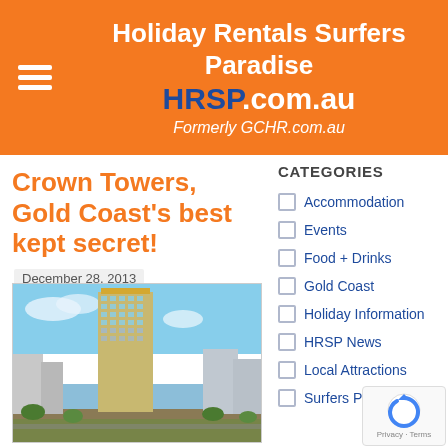Holiday Rentals Surfers Paradise HRSP.com.au Formerly GCHR.com.au
Crown Towers, Gold Coast's best kept secret!
December 28, 2013
Accommodation
Accommodation GC, Crown Towers, Gold Coast, Resort, Surfers Paradise
[Figure (photo): Aerial photo of Crown Towers skyscraper on the Gold Coast, showing the tall glass and concrete building rising above surrounding city and waterways with blue sky in background]
CATEGORIES
Accommodation
Events
Food + Drinks
Gold Coast
Holiday Information
HRSP News
Local Attractions
Surfers Paradise